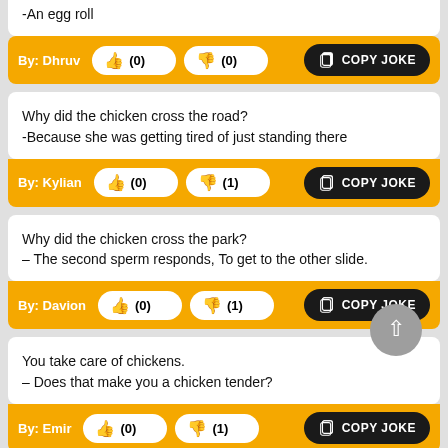-An egg roll
By: Dhruv  (0)  (0)  COPY JOKE
Why did the chicken cross the road?
-Because she was getting tired of just standing there
By: Kylian  (0)  (1)  COPY JOKE
Why did the chicken cross the park?
– The second sperm responds, To get to the other slide.
By: Davion  (0)  (1)  COPY JOKE
You take care of chickens.
– Does that make you a chicken tender?
By: Emir  (0)  (1)  COPY JOKE